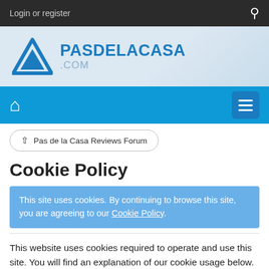Login or register
[Figure (logo): Pasdelacasa.com logo with blue triangle mountain icon and bold blue text PASDELACASA .COM]
[Figure (other): Navigation bar with home icon and hamburger menu button]
↑  Pas de la Casa Reviews Forum
Cookie Policy
This site uses cookies. By continuing to browse this site, you are agreeing to our Cookie Policy.
This website uses cookies required to operate and use this site. You will find an explanation of our cookie usage below.